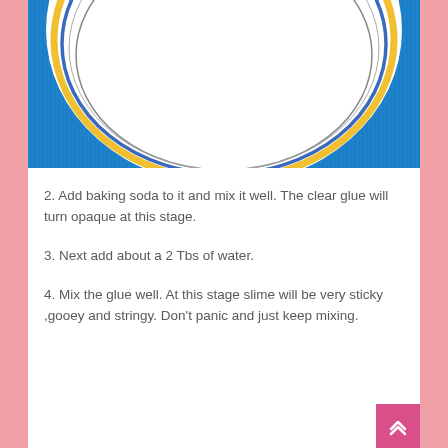[Figure (photo): Top-down view of a white ceramic bowl with yellow and blue rim stripes on a bright blue background]
2. Add baking soda to it and mix it well. The clear glue will turn opaque at this stage.
3. Next add about a 2 Tbs of water.
4. Mix the glue well. At this stage slime will be very sticky ,gooey and stringy. Don't panic and just keep mixing.